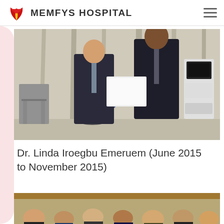MEMFYS HOSPITAL
[Figure (photo): Two men in suits standing together, one holding a white document/certificate. Office room with chairs and medical/computer equipment in the background.]
Dr. Linda Iroegbu Emeruem (June 2015 to November 2015)
[Figure (photo): Group photo of people partially visible at the bottom of the page, with a wooden-framed setting.]